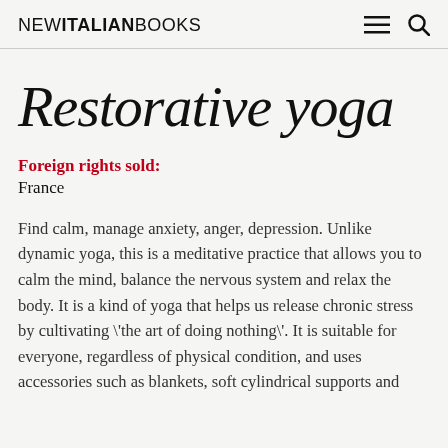NEW ITALIAN BOOKS
Restorative yoga
Foreign rights sold:
France
Find calm, manage anxiety, anger, depression. Unlike dynamic yoga, this is a meditative practice that allows you to calm the mind, balance the nervous system and relax the body. It is a kind of yoga that helps us release chronic stress by cultivating \'the art of doing nothing\'. It is suitable for everyone, regardless of physical condition, and uses accessories such as blankets, soft cylindrical supports and